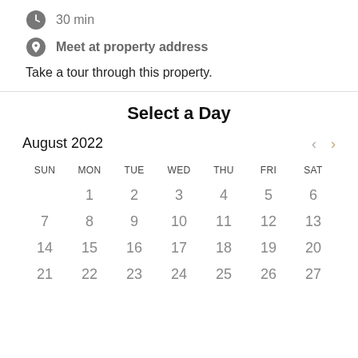30 min
Meet at property address
Take a tour through this property.
Select a Day
August 2022
| SUN | MON | TUE | WED | THU | FRI | SAT |
| --- | --- | --- | --- | --- | --- | --- |
|  | 1 | 2 | 3 | 4 | 5 | 6 |
| 7 | 8 | 9 | 10 | 11 | 12 | 13 |
| 14 | 15 | 16 | 17 | 18 | 19 | 20 |
| 21 | 22 | 23 | 24 | 25 | 26 | 27 |